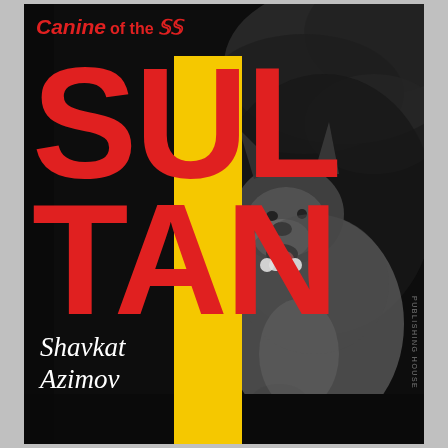[Figure (illustration): Book cover for 'Canine of the SS Sultan' by Shavkat Azimov. Black background with large red bold text 'SULTAN' and subtitle 'Canine of the SS' in red at top. A vertical yellow bar runs behind the large text. A black-and-white photograph of a German Shepherd dog (mouth open, tongue out) is positioned on the right side. Author name 'Shavkat Azimov' in white italic serif font at bottom left. Small vertical publisher text on the far right.]
Canine of the SS SULTAN
Shavkat Azimov